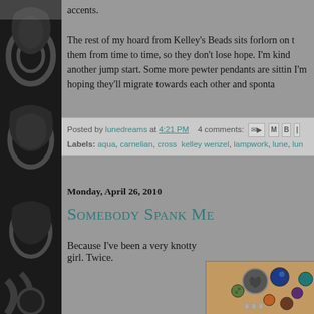accents.

The rest of my hoard from Kelley's Beads sits forlorn on them from time to time, so they don't lose hope. I'm kind another jump start. Some more pewter pendants are sittin I'm hoping they'll migrate towards each other and sponta
Posted by lunedreams at 4:21 PM   4 comments:
Labels: aqua, carnelian, cross kelley wenzel, lampwork, lune, lun
Monday, April 26, 2010
Somebody Spank Me
Because I've been a very knotty girl. Twice.
[Figure (photo): Close-up photo of beaded jewelry with colorful beads including blue, green, orange, and a heart-shaped pendant]